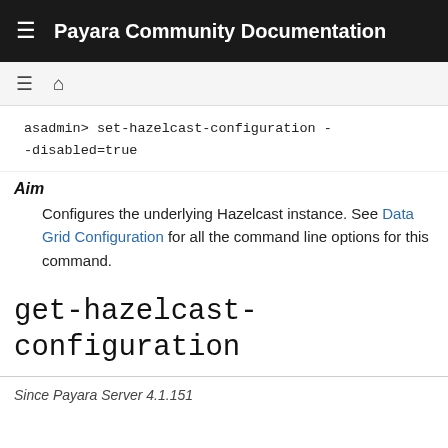Payara Community Documentation
asadmin> set-hazelcast-configuration --disabled=true
Aim
Configures the underlying Hazelcast instance. See Data Grid Configuration for all the command line options for this command.
get-hazelcast-configuration
Since Payara Server 4.1.151